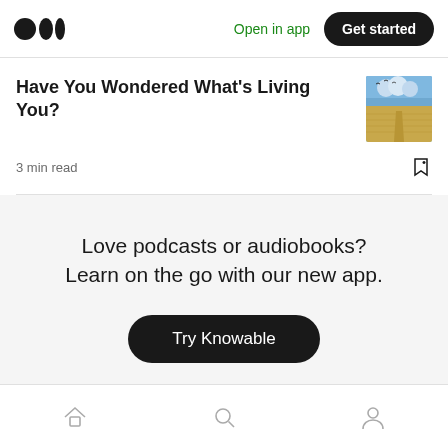Medium logo | Open in app | Get started
Have You Wondered What's Living You?
3 min read
[Figure (illustration): Thumbnail image of a painting showing a field with a path and sky with birds]
Love podcasts or audiobooks? Learn on the go with our new app.
Try Knowable
Home | Search | Profile icons